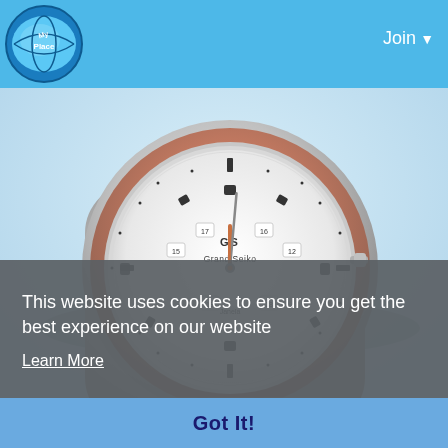My Place | Join
[Figure (photo): Close-up photograph of a Grand Seiko watch with rose gold bezel and silver metal bracelet, showing white dial with diamond hour markers]
This website uses cookies to ensure you get the best experience on our website
Learn More
Got It!